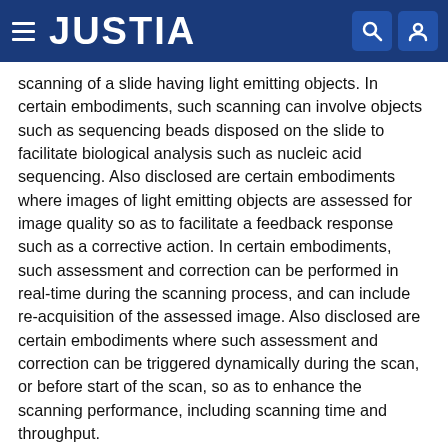JUSTIA
scanning of a slide having light emitting objects. In certain embodiments, such scanning can involve objects such as sequencing beads disposed on the slide to facilitate biological analysis such as nucleic acid sequencing. Also disclosed are certain embodiments where images of light emitting objects are assessed for image quality so as to facilitate a feedback response such as a corrective action. In certain embodiments, such assessment and correction can be performed in real-time during the scanning process, and can include re-acquisition of the assessed image. Also disclosed are certain embodiments where such assessment and correction can be triggered dynamically during the scan, or before start of the scan, so as to enhance the scanning performance, including scanning time and throughput.
Type: Grant